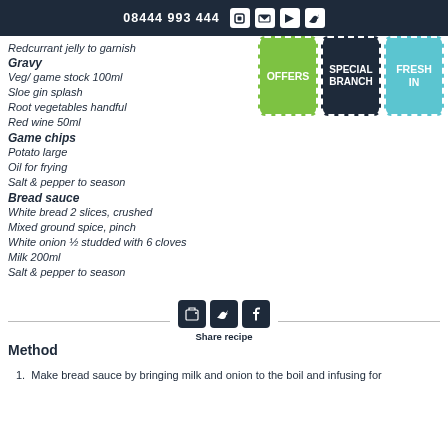08444 993 444
[Figure (infographic): Three badges: OFFERS (green), SPECIAL BRANCH (dark navy), FRESH IN (cyan/teal)]
Redcurrant jelly to garnish
Gravy
Veg/ game stock 100ml
Sloe gin splash
Root vegetables handful
Red wine 50ml
Game chips
Potato large
Oil for frying
Salt & pepper to season
Bread sauce
White bread 2 slices, crushed
Mixed ground spice, pinch
White onion ½ studded with 6 cloves
Milk 200ml
Salt & pepper to season
[Figure (infographic): Share recipe bar with print, Twitter, Facebook icons]
Method
1.  Make bread sauce by bringing milk and onion to the boil and infusing for